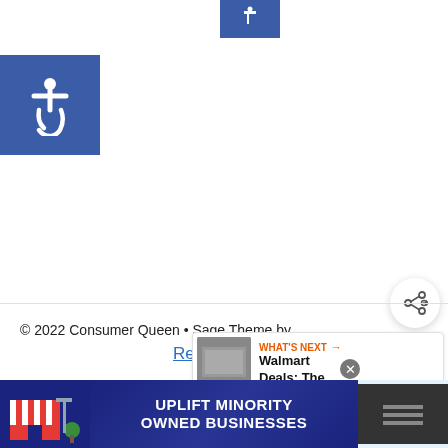[Figure (screenshot): Blue button at top center of page]
[Figure (logo): Blue square with white wheelchair accessibility icon]
[Figure (screenshot): Share button (circular white button with share icon)]
© 2022 Consumer Queen • Sage Theme by
Restored 316
[Figure (screenshot): WHAT'S NEXT -> Walmart Deals: The... promotional box with thumbnail image]
Exclusive Member of Mediavine Food
[Figure (screenshot): Ad banner: UPLIFT MINORITY OWNED BUSINESSES with store illustrations and close button]